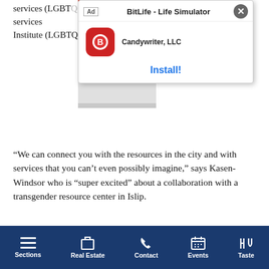services (LGBTQ health services Martin Institute (LGBTQ+ youth).
[Figure (screenshot): Mobile ad overlay for 'BitLife - Life Simulator' by Candywriter, LLC with Install button, overlaid on article text. Left side shows a game preview image.]
“We can connect you with the resources in the city and with services that you can’t even possibly imagine,” says Kasen-Windsor who is “super excited” about a collaboration with a transgender resource center in Islip.
The mission of the Edie Windsor Healthcare Center is clear: “to provide accessible, compassionate, comprehensive, state of the art care to all members of the LGBTQ+ community and to people living with HIV infection.”
Sections | Real Estate | Contact | Events | Taste